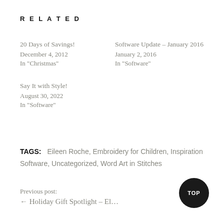Related
20 Days of Savings!
December 4, 2012
In "Christmas"
Software Update – January 2016
January 2, 2016
In "Software"
Say It with Style!
August 30, 2022
In "Software"
TAGS: Eileen Roche, Embroidery for Children, Inspiration Software, Uncategorized, Word Art in Stitches
Previous post:
← Holiday Gift Spotlight – El…